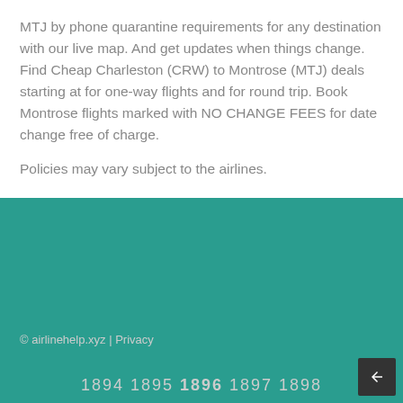MTJ by phone quarantine requirements for any destination with our live map. And get updates when things change. Find Cheap Charleston (CRW) to Montrose (MTJ) deals starting at for one-way flights and for round trip. Book Montrose flights marked with NO CHANGE FEES for date change free of charge.
Policies may vary subject to the airlines.
Save on your next flight with Expedia.
© airlinehelp.xyz | Privacy
1894 1895 1896 1897 1898